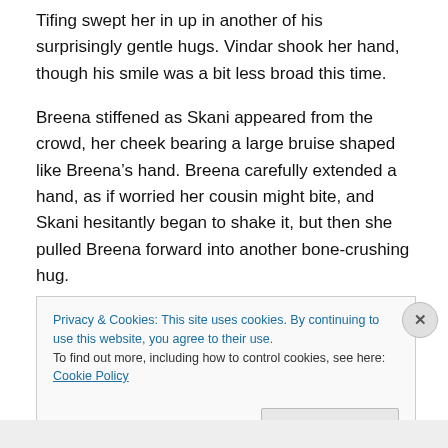Tifing swept her in up in another of his surprisingly gentle hugs. Vindar shook her hand, though his smile was a bit less broad this time.
Breena stiffened as Skani appeared from the crowd, her cheek bearing a large bruise shaped like Breena's hand. Breena carefully extended a hand, as if worried her cousin might bite, and Skani hesitantly began to shake it, but then she pulled Breena forward into another bone-crushing hug.
“I’m sorry,” she whispered in Breena’s ear.
Privacy & Cookies: This site uses cookies. By continuing to use this website, you agree to their use.
To find out more, including how to control cookies, see here: Cookie Policy